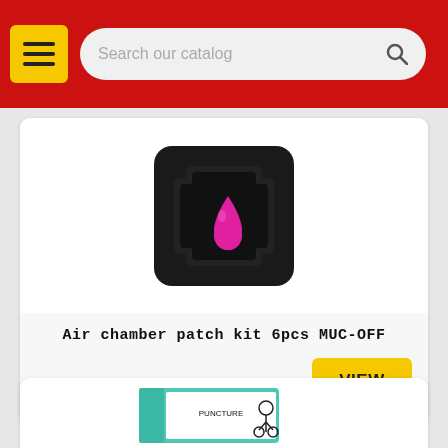[Figure (screenshot): Mobile app header with red background, yellow hamburger menu button, and search bar with placeholder 'Search our catalog']
[Figure (photo): Air chamber patch kit 6pcs MUC-OFF product image - black cross-shaped case with pink/magenta water drop logo]
Air chamber patch kit 6pcs MUC-OFF
[Figure (screenshot): VIEW button in yellow]
[Figure (photo): Second product partially visible at bottom - teal colored box with cycling illustration]